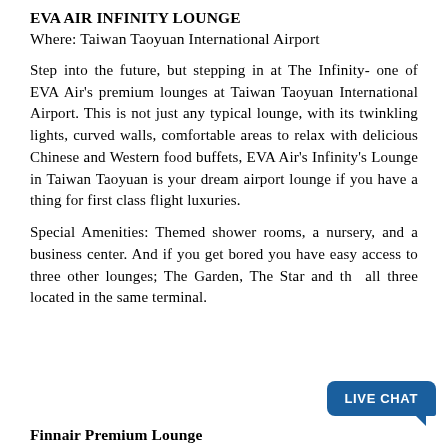EVA AIR INFINITY LOUNGE
Where: Taiwan Taoyuan International Airport
Step into the future, but stepping in at The Infinity- one of EVA Air's premium lounges at Taiwan Taoyuan International Airport. This is not just any typical lounge, with its twinkling lights, curved walls, comfortable areas to relax with delicious Chinese and Western food buffets, EVA Air's Infinity's Lounge in Taiwan Taoyuan is your dream airport lounge if you have a thing for first class flight luxuries.
Special Amenities: Themed shower rooms, a nursery, and a business center. And if you get bored you have easy access to three other lounges; The Garden, The Star and th... all three located in the same terminal.
Finnair Premium Lounge